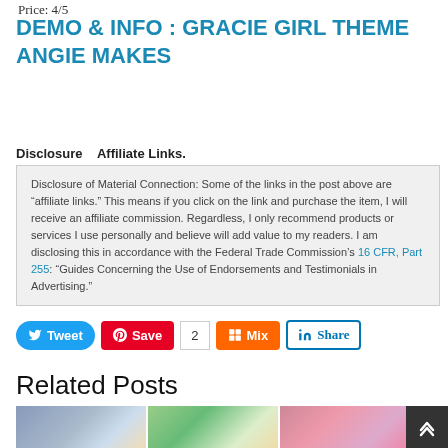Price: 4/5
DEMO & INFO : GRACIE GIRL THEME ANGIE MAKES
Disclosure   Affiliate Links.
Disclosure of Material Connection: Some of the links in the post above are “affiliate links.” This means if you click on the link and purchase the item, I will receive an affiliate commission. Regardless, I only recommend products or services I use personally and believe will add value to my readers. I am disclosing this in accordance with the Federal Trade Commission’s 16 CFR, Part 255: “Guides Concerning the Use of Endorsements and Testimonials in Advertising.”
[Figure (screenshot): Social sharing buttons: Tweet (blue), Save (red Pinterest), 2 (count), Mix (orange), Share (LinkedIn outlined)]
Related Posts
[Figure (photo): Three related post thumbnail images side by side showing a laptop, a person, and flowers]